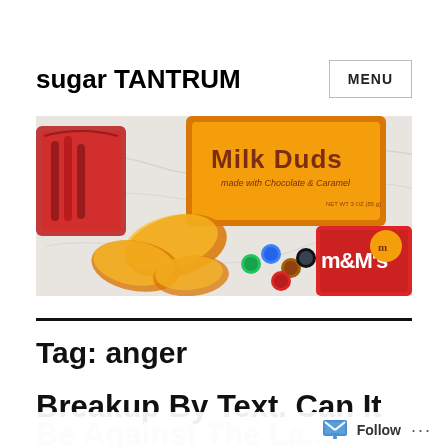sugar TANTRUM
MENU
[Figure (photo): Photo of various candy and snacks on a marble surface: Milk Duds box, potato chips, M&Ms candies scattered, and an M&M's chocolate package.]
Tag: anger
Breakup By Text. Can It Be Against The La...